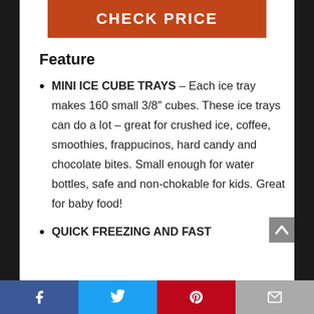CHECK PRICE
Feature
MINI ICE CUBE TRAYS – Each ice tray makes 160 small 3/8″ cubes. These ice trays can do a lot – great for crushed ice, coffee, smoothies, frappucinos, hard candy and chocolate bites. Small enough for water bottles, safe and non-chokable for kids. Great for baby food!
QUICK FREEZING AND FAST
Facebook | Twitter | Pinterest | Email